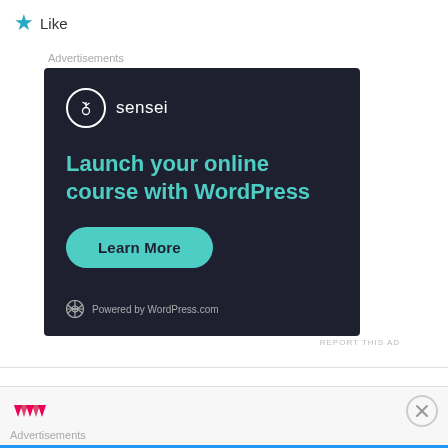★ Like
Advertisements
[Figure (illustration): Sensei advertisement banner on dark background. Shows Sensei logo (bonsai tree in circle), headline 'Launch your online course with WordPress', a teal 'Learn More' button, and 'Powered by WordPress.com' footer.]
REPORT THIS AD
Advertisements